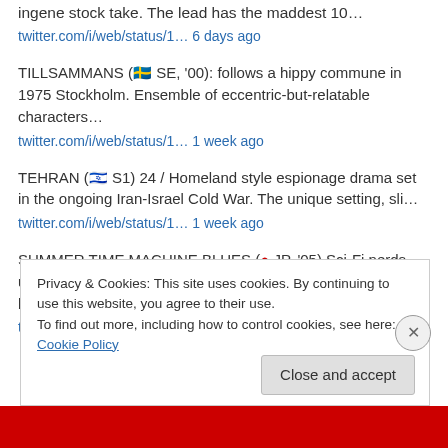ingene stock take. The lead has the maddest 10…
twitter.com/i/web/status/1… 6 days ago
TILLSAMMANS (🇸🇪 SE, '00): follows a hippy commune in 1975 Stockholm. Ensemble of eccentric-but-relatable characters…
twitter.com/i/web/status/1… 1 week ago
TEHRAN (🇮🇱 S1) 24 / Homeland style espionage drama set in the ongoing Iran-Israel Cold War. The unique setting, sli…
twitter.com/i/web/status/1… 1 week ago
SUMMER TIME MACHINE BLUES (🔴 JP, '05) Sci-Fi nerds use a time machine to… [re-reads synopsis] …replace a broken ai…
twitter.com/i/web/status/1… 1 week ago
Privacy & Cookies: This site uses cookies. By continuing to use this website, you agree to their use.
To find out more, including how to control cookies, see here: Cookie Policy
Close and accept